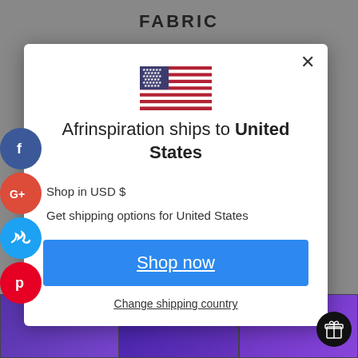[Figure (screenshot): Screenshot of a website popup modal for Afrinspiration shipping notification, with social share icons on the left, a US flag, shipping info, Shop now button, and Change shipping country link.]
Afrinspiration ships to United States
Shop in USD $
Get shipping options for United States
Shop now
Change shipping country